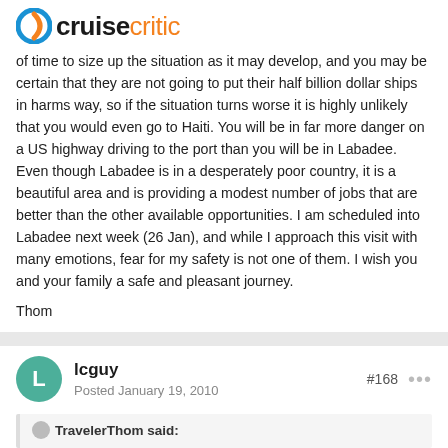cruisecritic
of time to size up the situation as it may develop, and you may be certain that they are not going to put their half billion dollar ships in harms way, so if the situation turns worse it is highly unlikely that you would even go to Haiti. You will be in far more danger on a US highway driving to the port than you will be in Labadee. Even though Labadee is in a desperately poor country, it is a beautiful area and is providing a modest number of jobs that are better than the other available opportunities. I am scheduled into Labadee next week (26 Jan), and while I approach this visit with many emotions, fear for my safety is not one of them. I wish you and your family a safe and pleasant journey.
Thom
lcguy
Posted January 19, 2010
#168
TravelerThom said: